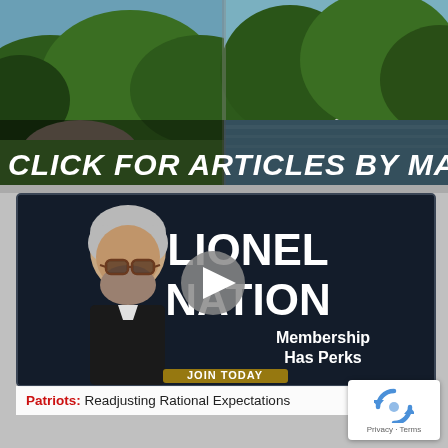[Figure (photo): Scenic nature banner with forest and river landscape photos side by side, with overlaid text 'CLICK FOR ARTICLES BY MARY']
[Figure (screenshot): Lionel Nation video thumbnail showing a man with beard and glasses on the left, large white text 'LIONEL NATION' on the right, a play button in the center, and text 'Membership Has Perks' and 'JOIN TODAY' at the bottom]
Patriots: Readjusting Rational Expectations
[Figure (logo): reCAPTCHA logo with 'Privacy - Terms' text below]